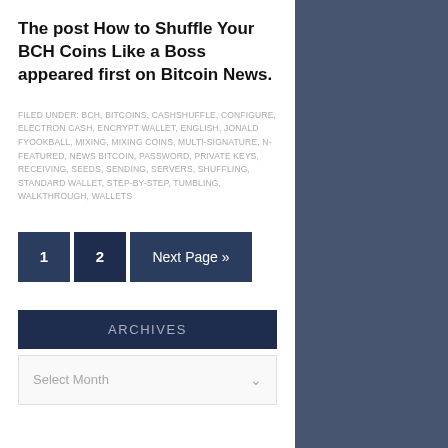The post How to Shuffle Your BCH Coins Like a Boss appeared first on Bitcoin News.
FILED UNDER: BCH, BITCOINS, CASHSHUFFLE, CONFIGURE, ELECTRON CASH, ENCRYPT WALLET, ENGLISH, JONALD FYOOKBALL, MIXING, MIXING COINS, MULTI-SIGNATURE, N-FEATURED, NEWS BITCOIN, PASSWORD, PRIVATE KEYS, RECEIVING, SEEDS, SENDING, SERVERS, SHUFFLING, STANDARD WALLET, STEP-BY-STEP, TUMBLING, WALKTHROUGH, WALLETS
1  2  Next Page »
ARCHIVES
Select Month